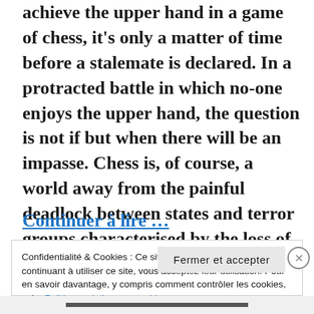achieve the upper hand in a game of chess, it's only a matter of time before a stalemate is declared. In a protracted battle in which no-one enjoys the upper hand, the question is not if but when there will be an impasse. Chess is, of course, a world away from the painful deadlock between states and terror groups characterised by the loss of lives and social upheaval – but it's a useful analogy.
Continuer à lire …
Confidentialité & Cookies : Ce site utilise des cookies. En continuant à utiliser ce site, vous acceptez leur utilisation. Pour en savoir davantage, y compris comment contrôler les cookies, voir : Politique relative aux cookies
Fermer et accepter